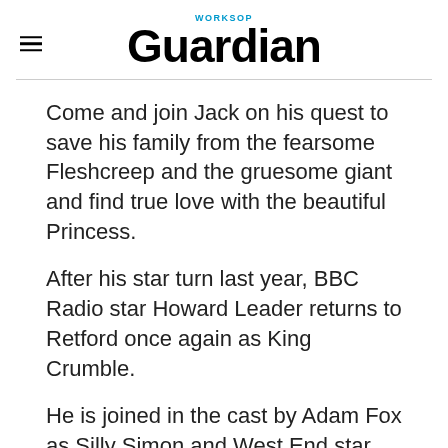Worksop Guardian
Come and join Jack on his quest to save his family from the fearsome Fleshcreep and the gruesome giant and find true love with the beautiful Princess.
After his star turn last year, BBC Radio star Howard Leader returns to Retford once again as King Crumble.
He is joined in the cast by Adam Fox as Silly Simon and West End star Chris Howard as Fleshcreep, Jodie Gorrman as Princess Rose and